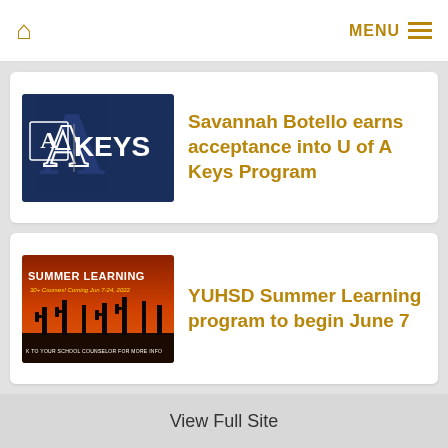Home | MENU
[Figure (logo): University of Arizona KEYS program logo — navy blue background with large letter A and text KEYS]
Savannah Botello earns acceptance into U of A Keys Program
[Figure (photo): Summer Learning promotional image with orange desert sunset background, text: SUMMER LEARNING 30+ Courses! Coming Jun 7-24, 2022, Talk to your school counselor for more info]
YUHSD Summer Learning program to begin June 7
View Full Site